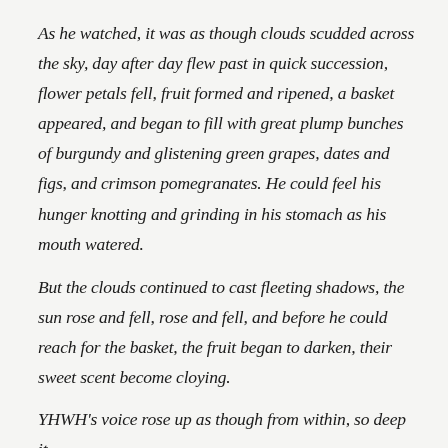As he watched, it was as though clouds scudded across the sky, day after day flew past in quick succession, flower petals fell, fruit formed and ripened, a basket appeared, and began to fill with great plump bunches of burgundy and glistening green grapes, dates and figs, and crimson pomegranates. He could feel his hunger knotting and grinding in his stomach as his mouth watered.
But the clouds continued to cast fleeting shadows, the sun rose and fell, rose and fell, and before he could reach for the basket, the fruit began to darken, their sweet scent become cloying.
YHWH's voice rose up as though from within, so deep it